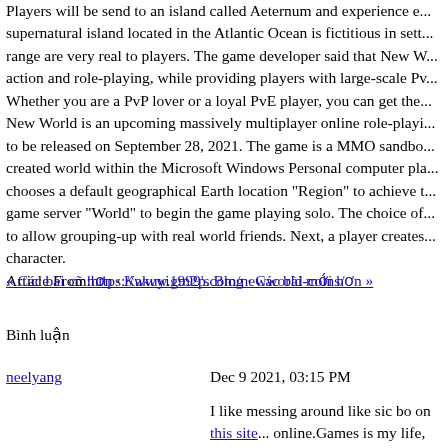Players will be send to an island called Aeternum and experience e... supernatural island located in the Atlantic Ocean is fictitious in sett... range are very real to players. The game developer said that New W... action and role-playing, while providing players with large-scale Pv... Whether you are a PvP lover or a loyal PvE player, you can get the... New World is an upcoming massively multiplayer online role-playi... to be released on September 28, 2021. The game is a MMO sandbo... created world within the Microsoft Windows Personal computer pla... chooses a default geographical Earth location "Region" to achieve t... game server "World" to begin the game playing solo. The choice of... to allow grouping-up with real world friends. Next, a player creates... character.
Article From: https://www.gm2p.com/newworld-coins/
« Các bài cũ hơn · Kakuyi1999's Blog · Các bài mới hơn »
Bình luận
neelyang
Dec 9 2021, 03:15 PM
[Figure (illustration): Avatar image of a tropical fish (butterfly fish) with yellow and black stripes]
I like messing around like sic bo on this site... online.Games is my life, genuinely, I really... love to more internet games, at any rate wi... the standards and methodology. An obvious...